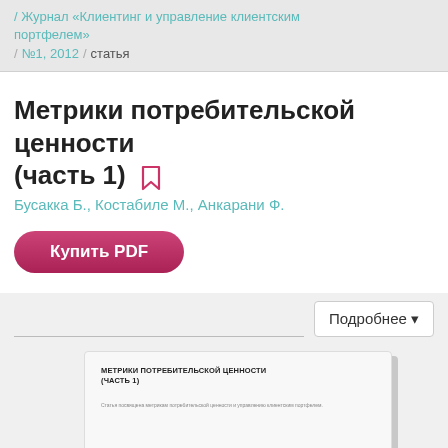Журнал «Клиентинг и управление клиентским портфелем» / №1, 2012 / статья
Метрики потребительской ценности (часть 1)
Бусакка Б., Костабиле М., Анкарани Ф.
Купить PDF
Подробнее
[Figure (other): Preview card of article showing title МЕТРИКИ ПОТРЕБИТЕЛЬСКОЙ ЦЕННОСТИ (ЧАСТЬ 1) with small body text below]